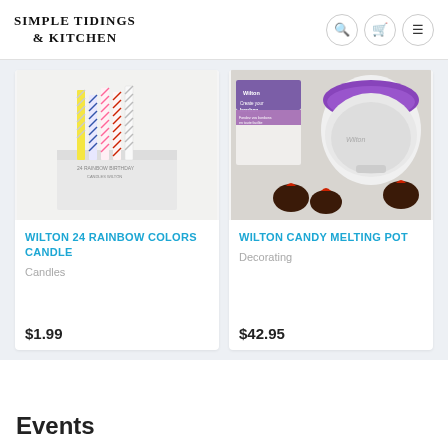SIMPLE TIDINGS & KITCHEN
[Figure (photo): Wilton 24 Rainbow Colors Candle product image showing colorful striped birthday candles]
WILTON 24 RAINBOW COLORS CANDLE
Candles
$1.99
[Figure (photo): Wilton Candy Melting Pot product image showing a white and purple electric melting pot with chocolate-dipped strawberries]
WILTON CANDY MELTING POT
Decorating
$42.95
Events